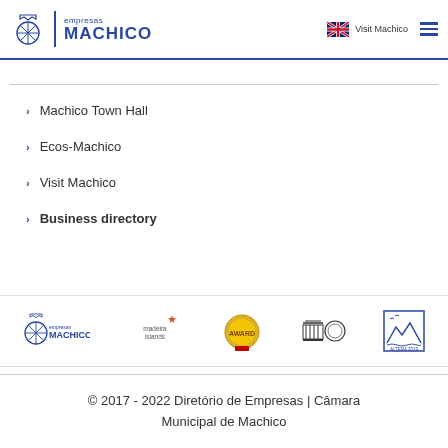[Figure (logo): Empresas Machico logo with shield emblem and text]
Visit Machico
Machico Town Hall
Ecos-Machico
Visit Machico
Business directory
[Figure (logo): Footer logos: Empresas Machico, Madeira Islands, gold award seal, UNESCO/heritage emblem, Altera 2019]
© 2017 - 2022 Diretório de Empresas | Câmara Municipal de Machico